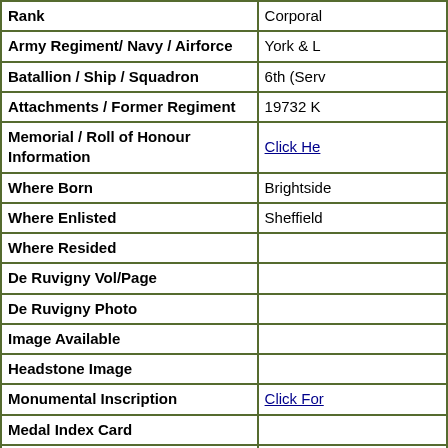| Field | Value |
| --- | --- |
| Rank | Corporal |
| Army Regiment/ Navy / Airforce | York & L |
| Batallion / Ship / Squadron | 6th (Serv |
| Attachments / Former Regiment | 19732 K |
| Memorial / Roll of Honour Information | Click He |
| Where Born | Brightside |
| Where Enlisted | Sheffield |
| Where Resided |  |
| De Ruvigny Vol/Page |  |
| De Ruvigny Photo |  |
| Image Available |  |
| Headstone Image |  |
| Monumental Inscription | Click For |
| Medal Index Card |  |
| Service Papers Exist on Ancestry | Yes |
| CWGC Additional Information | Brother o |
| CWGC Grave / Memorial | Thiepval |
| Prisoner of War |  |
| Newspaper Clipping Date |  |
| Further Information |  |